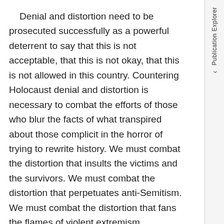Denial and distortion need to be prosecuted successfully as a powerful deterrent to say that this is not acceptable, that this is not okay, that this is not allowed in this country. Countering Holocaust denial and distortion is necessary to combat the efforts of those who blur the facts of what transpired about those complicit in the horror of trying to rewrite history. We must combat the distortion that insults the victims and the survivors. We must combat the distortion that perpetuates anti-Semitism. We must combat the distortion that fans the flames of violent extremism.
We must combat that distortion not only for the Jewish community, but for the thousands of people who defied the rules set down by the Nazis, set down by Hitler, and collectively saved countless LGBT people, disabled